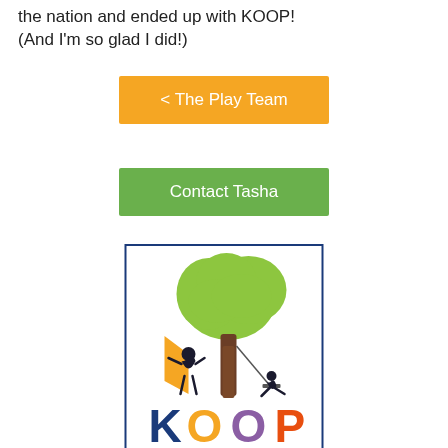the nation and ended up with KOOP! (And I'm so glad I did!)
< The Play Team
Contact Tasha
[Figure (logo): KOOP organization logo featuring a green tree with silhouettes of children playing, and colorful letters spelling KOOP below, inside a blue-bordered box]